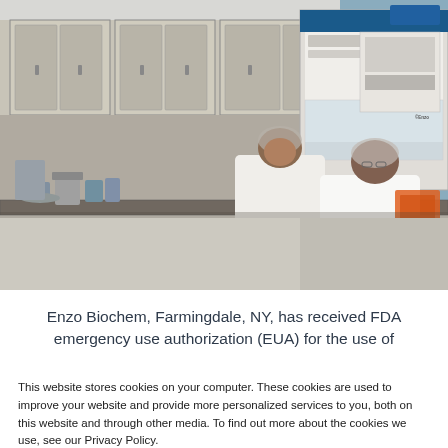[Figure (photo): Two laboratory scientists in white lab coats and hairnets working at a biosafety cabinet/fume hood in a laboratory setting. Lab equipment and cabinets visible in background. Enzo logo visible on equipment.]
Enzo Biochem, Farmingdale, NY, has received FDA emergency use authorization (EUA) for the use of
This website stores cookies on your computer. These cookies are used to improve your website and provide more personalized services to you, both on this website and through other media. To find out more about the cookies we use, see our Privacy Policy.